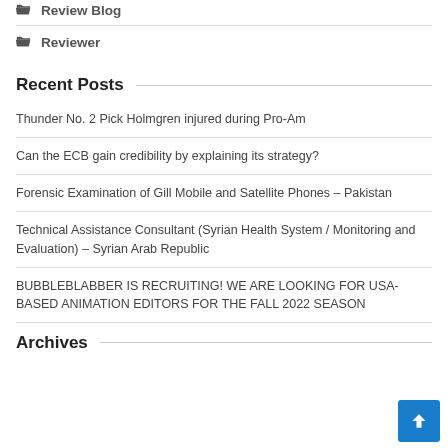Review Blog
Reviewer
Recent Posts
Thunder No. 2 Pick Holmgren injured during Pro-Am
Can the ECB gain credibility by explaining its strategy?
Forensic Examination of Gill Mobile and Satellite Phones – Pakistan
Technical Assistance Consultant (Syrian Health System / Monitoring and Evaluation) – Syrian Arab Republic
BUBBLEBLABBER IS RECRUITING! WE ARE LOOKING FOR USA-BASED ANIMATION EDITORS FOR THE FALL 2022 SEASON
Archives